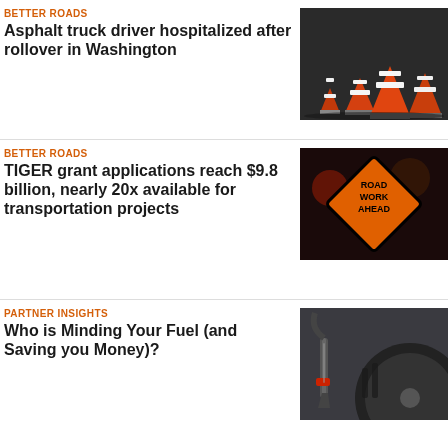BETTER ROADS
Asphalt truck driver hospitalized after rollover in Washington
[Figure (photo): Orange traffic cones lined up on a road]
BETTER ROADS
TIGER grant applications reach $9.8 billion, nearly 20x available for transportation projects
[Figure (photo): Orange road work ahead diamond warning sign with blurred traffic lights in background]
PARTNER INSIGHTS
Who is Minding Your Fuel (and Saving you Money)?
[Figure (photo): Close-up of fuel nozzle filling a large truck tire area]